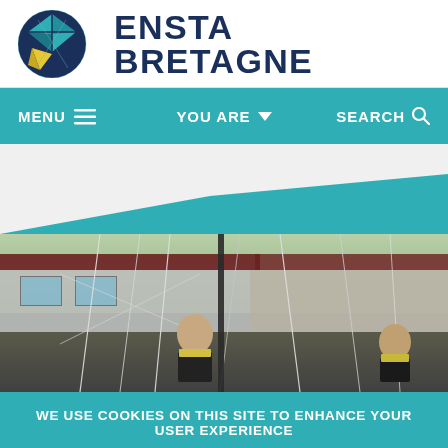[Figure (logo): ENSTA Bretagne circular logo with navy, teal, and yellow design, followed by bold navy text reading ENSTA BRETAGNE]
MENU  ≡   YOU ARE  ∨   SEARCH  ⚲
[Figure (photo): Two young men in safety vests working with sailing equipment (ropes/rigging) outdoors in front of a building]
WE USE COOKIES ON THIS SITE TO ENHANCE YOUR USER EXPERIENCE
BY CLICKING ANY LINK ON THIS PAGE YOU ARE GIVING YOUR CONSENT FOR US TO